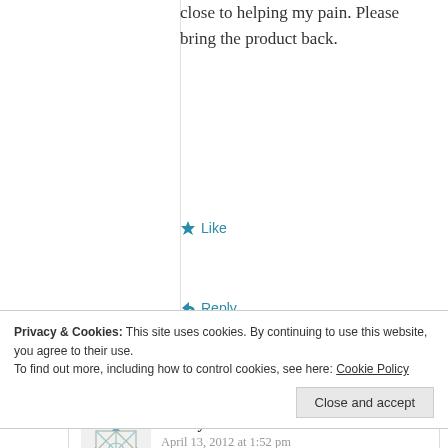close to helping my pain. Please bring the product back.
Like
Reply
Carolyn Jerauld
April 13, 2012 at 1:52 pm
Privacy & Cookies: This site uses cookies. By continuing to use this website, you agree to their use. To find out more, including how to control cookies, see here: Cookie Policy
Close and accept
all day. Age 65